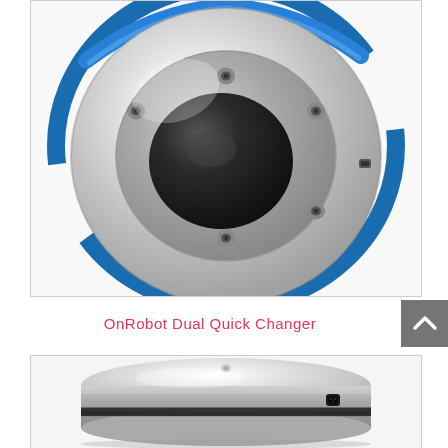[Figure (photo): Top-down view of a silver metallic circular robotic quick changer component with a blue ring around the outer edge, a large central circular opening, and several bolt holes arranged around it. The component appears to be CNC machined aluminum.]
OnRobot Dual Quick Changer
[Figure (photo): Angled view of a silver metallic circular robotic quick changer component with a black connector port visible on the side. The component has a sleek, machined appearance with a dark gap/slot around the lower edge.]